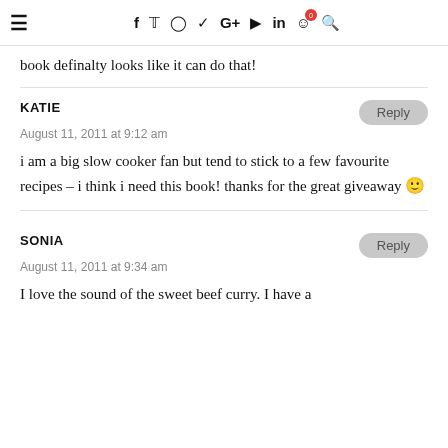☰  f  🐦  ◎  𝓟  G+  ▶  in  🛒⁰  🔍
book definalty looks like it can do that!
KATIE
August 11, 2011 at 9:12 am

i am a big slow cooker fan but tend to stick to a few favourite recipes – i think i need this book! thanks for the great giveaway 🙂
SONIA
August 11, 2011 at 9:34 am

I love the sound of the sweet beef curry. I have a